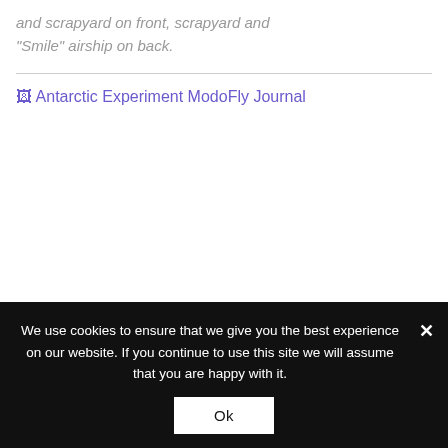and scrapyard on front, scrapyard and "Smile" airship on back.
[Figure (other): Broken/unloaded image link labeled 'Antarctic Experiment ModoFly Journal']
We use cookies to ensure that we give you the best experience on our website. If you continue to use this site we will assume that you are happy with it.